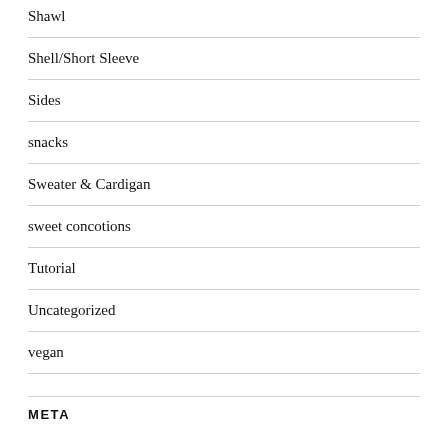Shawl
Shell/Short Sleeve
Sides
snacks
Sweater & Cardigan
sweet concotions
Tutorial
Uncategorized
vegan
META